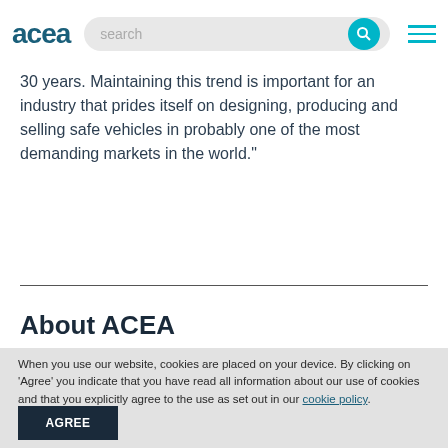acea | search
30 years. Maintaining this trend is important for an industry that prides itself on designing, producing and selling safe vehicles in probably one of the most demanding markets in the world."
About ACEA
When you use our website, cookies are placed on your device. By clicking on 'Agree' you indicate that you have read all information about our use of cookies and that you explicitly agree to the use as set out in our cookie policy.